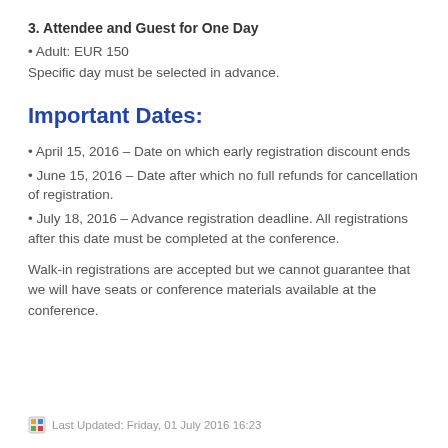3. Attendee and Guest for One Day
• Adult: EUR 150
Specific day must be selected in advance.
Important Dates:
• April 15, 2016 – Date on which early registration discount ends
• June 15, 2016 – Date after which no full refunds for cancellation of registration.
• July 18, 2016 – Advance registration deadline. All registrations after this date must be completed at the conference.
Walk-in registrations are accepted but we cannot guarantee that we will have seats or conference materials available at the conference.
Last Updated: Friday, 01 July 2016 16:23